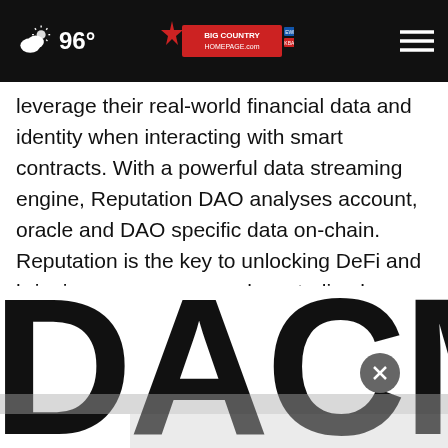96° Big Country Homepage
leverage their real-world financial data and identity when interacting with smart contracts. With a powerful data streaming engine, Reputation DAO analyses account, oracle and DAO specific data on-chain. Reputation is the key to unlocking DeFi and bringing numerous new decentralized applications to life.
[Figure (logo): DACM logo letters in large black text, partially visible at the bottom of the page]